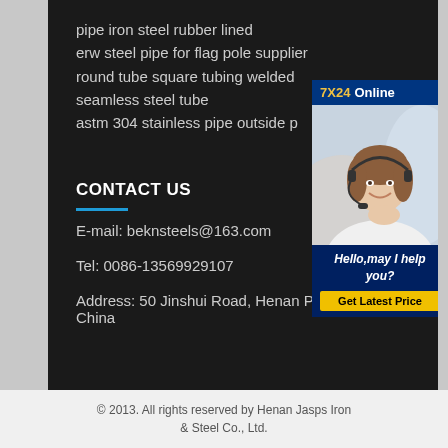pipe iron steel rubber lined
erw steel pipe for flag pole supplier
round tube square tubing welded seamless steel tube
astm 304 stainless pipe outside p…
CONTACT US
E-mail: beknsteels@163.com
Tel: 0086-13569929107
Address: 50 Jinshui Road, Henan Province China
[Figure (photo): Customer service representative with headset smiling, with 7X24 Online chat widget overlay showing 'Hello,may I help you?' and 'Get Latest Price' button]
© 2013. All rights reserved by Henan Jasps Iron & Steel Co., Ltd.